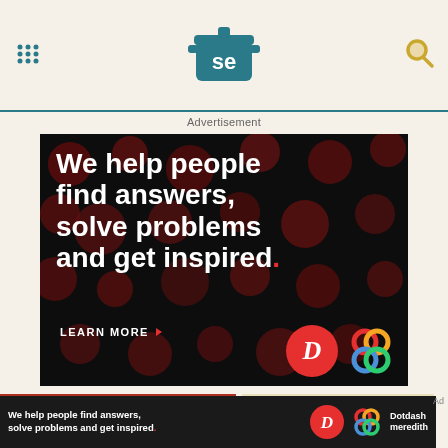[Figure (logo): Serious Eats (se) logo - teal cooking pot with SE letters, centered in header]
[Figure (logo): Nine-dot menu icon on the left header]
[Figure (logo): Search magnifying glass icon on the right header]
Advertisement
[Figure (infographic): Black advertisement banner with dark red dot pattern background. Text reads: We help people find answers, solve problems and get inspired. LEARN MORE with arrow. Bottom right shows Dotdash D logo (red circle) and Meredith colorful knot logo.]
[Figure (photo): Photo of drinks with lime slices on red background]
[Figure (photo): Photo of light-colored beverage on cream background]
Ad
[Figure (infographic): Bottom banner: We help people find answers, solve problems and get inspired. With Dotdash D logo, colorful knot logo, and Dotdash meredith text]